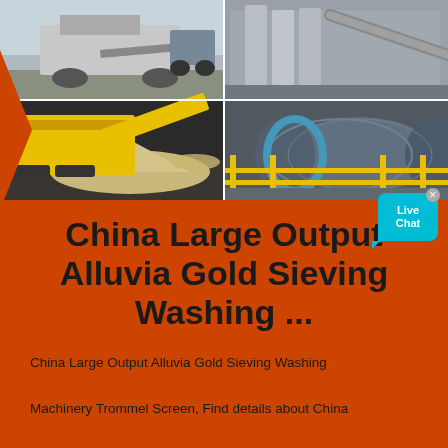[Figure (photo): Four-panel photo grid showing gold mining and washing machinery: top-left shows a mobile crusher/screening machine outdoors, top-right shows an industrial plant with silos and pipes, bottom-left shows a yellow mobile trommel/sieving machine dumping gravel, bottom-right shows a large rotating trommel drum in an industrial shed with yellow railings.]
China Large Output Alluvia Gold Sieving Washing ...
China Large Output Alluvia Gold Sieving Washing Machinery Trommel Screen, Find details about China Diamond Wash Plant, Mobile Gold Trommel from Large Output Alluvia Gold Sieving Washing Machinery Trommel Screen - Jiangxi Victor International Mining